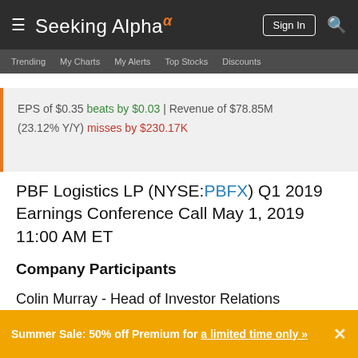Seeking Alpha
EPS of $0.35 beats by $0.03 | Revenue of $78.85M (23.12% Y/Y) misses by $230.17K
PBF Logistics LP (NYSE:PBFX) Q1 2019 Earnings Conference Call May 1, 2019 11:00 AM ET
Company Participants
Colin Murray - Head of Investor Relations
Matthew Lucey - President and Director
Summer Sale: 50% off Premium for a limited time only »